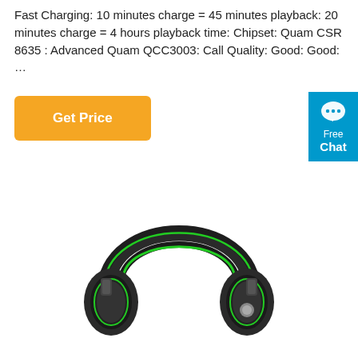Fast Charging: 10 minutes charge = 45 minutes playback: 20 minutes charge = 4 hours playback time: Chipset: Quam CSR 8635 : Advanced Quam QCC3003: Call Quality: Good: Good: …
[Figure (other): Orange 'Get Price' button]
[Figure (other): Blue 'Free Chat' widget in top-right corner with chat bubble icon]
[Figure (photo): Black and green gaming headset photographed from front-left angle, showing over-ear design with dual headband and green accent lighting on ear cup]